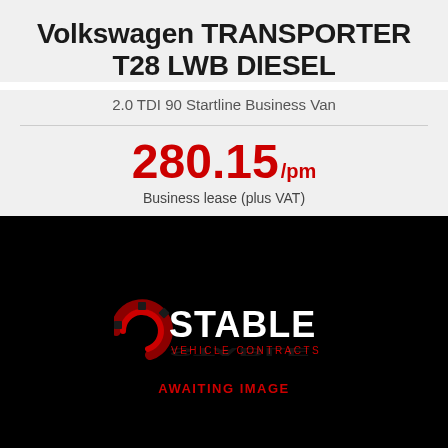Volkswagen TRANSPORTER T28 LWB DIESEL
2.0 TDI 90 Startline Business Van
280.15/pm Business lease (plus VAT)
[Figure (logo): Stable Vehicle Contracts logo and AWAITING IMAGE placeholder on black background]